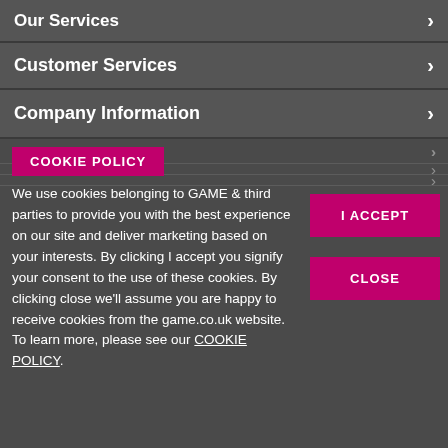Our Services
Customer Services
Company Information
COOKIE POLICY
We use cookies belonging to GAME & third parties to provide you with the best experience on our site and deliver marketing based on your interests. By clicking I accept you signify your consent to the use of these cookies. By clicking close we'll assume you are happy to receive cookies from the game.co.uk website. To learn more, please see our COOKIE POLICY.
I ACCEPT
CLOSE
limited regulation by the Prudential Regulation Authority. © Game.co.uk 2022 All Rights Reserved
Representative Example: